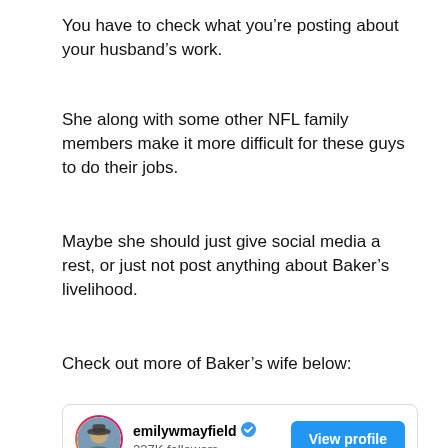You have to check what you're posting about your husband's work.
She along with some other NFL family members make it more difficult for these guys to do their jobs.
Maybe she should just give social media a rest, or just not post anything about Baker's livelihood.
Check out more of Baker's wife below:
[Figure (screenshot): Instagram profile card for emilywmayfield with 227K followers and a View profile button, plus a partial photo showing a woman outdoors with autumn trees in the background.]